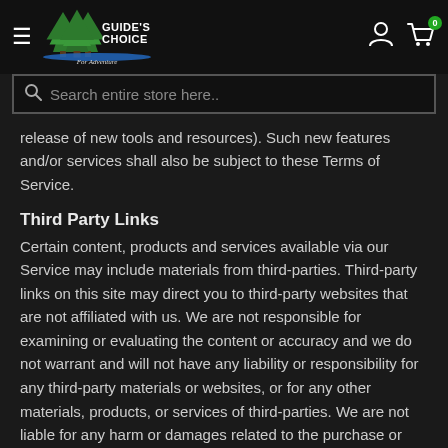Guide's Choice For Adventure — navigation header with logo, search bar, user icon, cart icon
release of new tools and resources). Such new features and/or services shall also be subject to these Terms of Service.
Third Party Links
Certain content, products and services available via our Service may include materials from third-parties. Third-party links on this site may direct you to third-party websites that are not affiliated with us. We are not responsible for examining or evaluating the content or accuracy and we do not warrant and will not have any liability or responsibility for any third-party materials or websites, or for any other materials, products, or services of third-parties. We are not liable for any harm or damages related to the purchase or use of goods, services, resources, content, or any other transactions made in connection with any third-